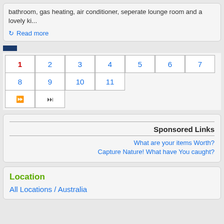bathroom, gas heating, air conditioner, seperate lounge room and a lovely ki...
Read more
[Figure (other): Blue navigation bar/divider element]
[Figure (other): Pagination control with page numbers 1-11 and navigation arrows (fast-forward and skip-to-end buttons). Page 1 is currently active (shown in red).]
Sponsored Links
What are your items Worth?
Capture Nature! What have You caught?
Location
All Locations / Australia